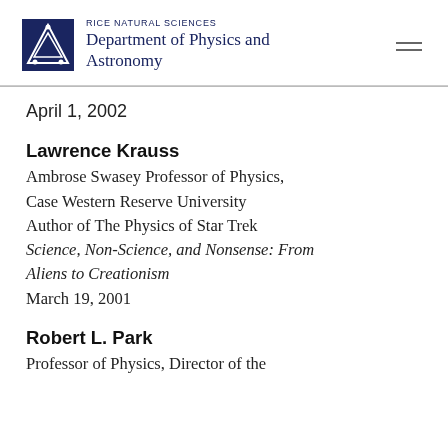RICE NATURAL SCIENCES Department of Physics and Astronomy
April 1, 2002
Lawrence Krauss
Ambrose Swasey Professor of Physics, Case Western Reserve University
Author of The Physics of Star Trek
Science, Non-Science, and Nonsense: From Aliens to Creationism
March 19, 2001
Robert L. Park
Professor of Physics, Director of the